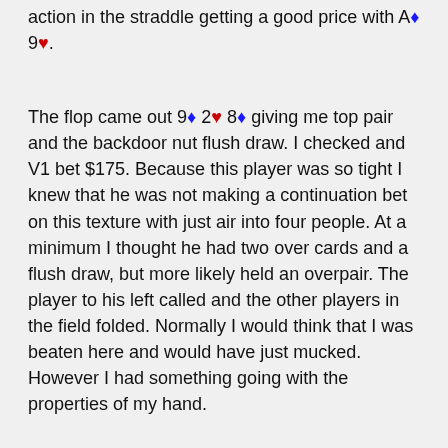action in the straddle getting a good price with A♦ 9♥.
The flop came out 9♦ 2♥ 8♦ giving me top pair and the backdoor nut flush draw. I checked and V1 bet $175. Because this player was so tight I knew that he was not making a continuation bet on this texture with just air into four people. At a minimum I thought he had two over cards and a flush draw, but more likely held an overpair. The player to his left called and the other players in the field folded. Normally I would think that I was beaten here and would have just mucked. However I had something going with the properties of my hand.
Because I had the ace of diamonds I knew that V1 could not have the nut flush draw, skewing him to having more value hands on the flop. I also knew that because V2 called, if I chose to raise it would look like I was almost never bluffing as the preflop raiser knew that V2 would be calling it off. And lastly I had a lot more strong value combinations in my range, completing from the straddle last to act then the preflop raiser.